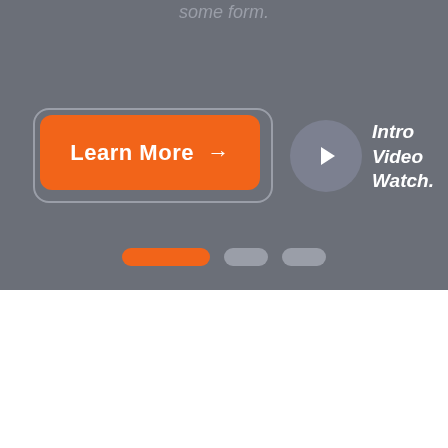some form.
[Figure (screenshot): A UI slide/hero section with a gray background. Contains a 'Learn More →' orange button with a dashed border outline, a circular play button icon in gray, and italic bold white text reading 'Intro Video Watch.' Below are three pill-shaped pagination indicators: one active orange pill and two inactive gray pills.]
Intro Video Watch.